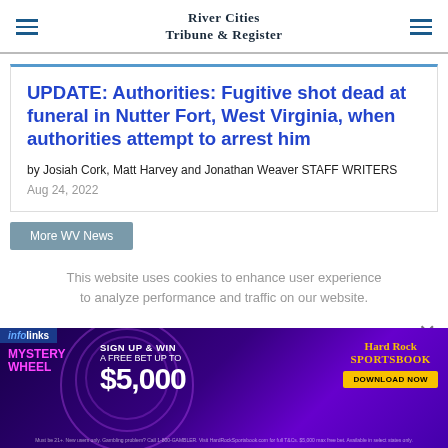River Cities Tribune & Register
UPDATE: Authorities: Fugitive shot dead at funeral in Nutter Fort, West Virginia, when authorities attempt to arrest him
by Josiah Cork, Matt Harvey and Jonathan Weaver STAFF WRITERS
Aug 24, 2022
More WV News
This website uses cookies to enhance user experience to analyze performance and traffic on our website.
[Figure (infographic): Hard Rock Sportsbook advertisement with purple background, Mystery Wheel promotion, Sign Up & Win a Free Bet Up To $5,000 offer and Download Now button]